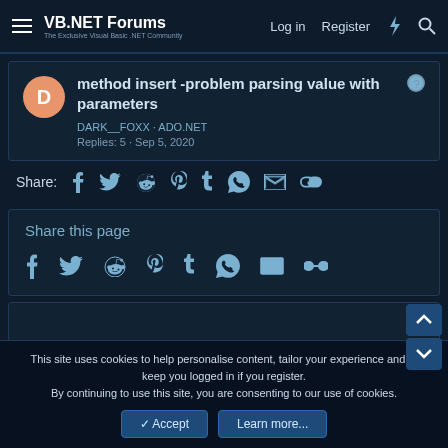VB.NET Forums — Log in | Register
method insert -problem parsing value with parameters
DARK__FOXX · ADO.NET
Replies: 5 · Sep 5, 2020
Share: [Facebook] [Twitter] [Reddit] [Pinterest] [Tumblr] [WhatsApp] [Email] [Link]
Share this page
[Facebook] [Twitter] [Reddit] [Pinterest] [Tumblr] [WhatsApp] [Email] [Link]
This site uses cookies to help personalise content, tailor your experience and to keep you logged in if you register.
By continuing to use this site, you are consenting to our use of cookies.
✓ Accept   Learn more...